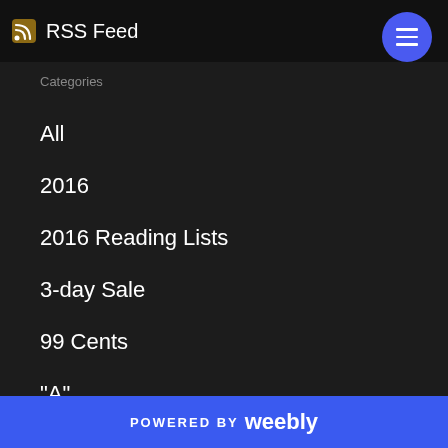RSS Feed
Categories
All
2016
2016 Reading Lists
3-day Sale
99 Cents
"A"
Abbadon
Action
Activism
POWERED BY weebly